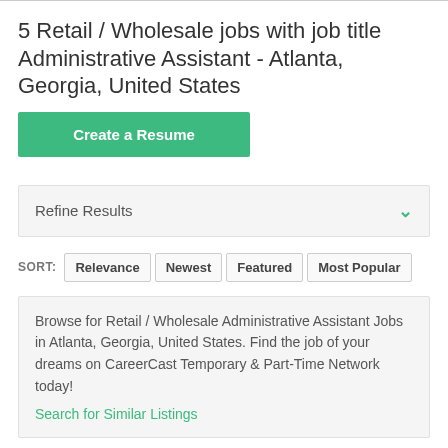5 Retail / Wholesale jobs with job title Administrative Assistant - Atlanta, Georgia, United States
Create a Resume
Refine Results
SORT: Relevance  Newest  Featured  Most Popular
Browse for Retail / Wholesale Administrative Assistant Jobs in Atlanta, Georgia, United States. Find the job of your dreams on CareerCast Temporary & Part-Time Network today!
Search for Similar Listings
13 days old